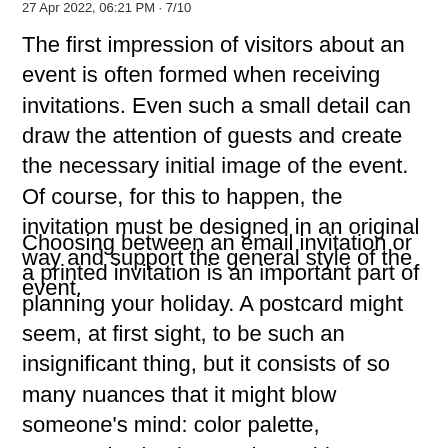27 Apr 2022, 06:21 PM · 7/10
The first impression of visitors about an event is often formed when receiving invitations. Even such a small detail can draw the attention of guests and create the necessary initial image of the event. Of course, for this to happen, the invitation must be designed in an original way and support the general style of the event.
Choosing between an email invitation or a printed invitation is an important part of planning your holiday. A postcard might seem, at first sight, to be such an insignificant thing, but it consists of so many nuances that it might blow someone's mind: color palette, typography, background, graphic elements, images and so on. It is this attention to detail that helps you create your own invitation design, even if you do not have special skills and